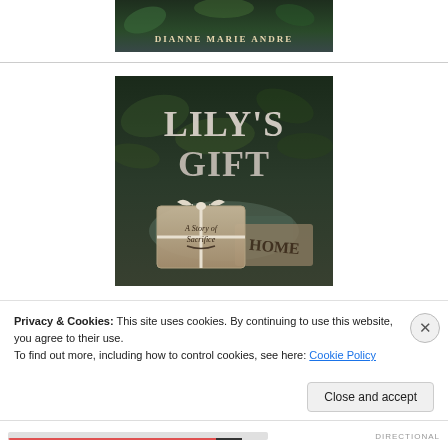[Figure (illustration): Top portion of a book cover showing author name 'DIANNE MARIE ANDRE' on a dark green/nature background]
[Figure (illustration): Book cover for 'Lily's Gift - A Story of Sacrifice' by Dianne Marie Andre. Shows large stylized title text over a dark background with a wrapped gift package and a 'HOME' doormat.]
Privacy & Cookies: This site uses cookies. By continuing to use this website, you agree to their use.
To find out more, including how to control cookies, see here: Cookie Policy
Close and accept